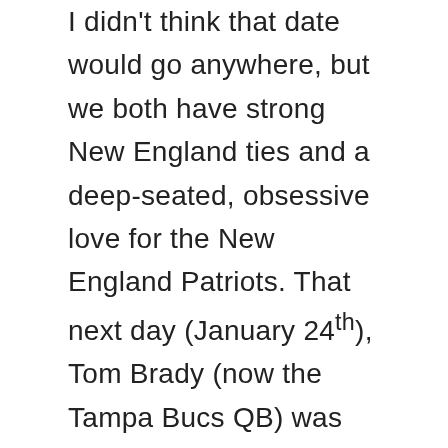I didn't think that date would go anywhere, but we both have strong New England ties and a deep-seated, obsessive love for the New England Patriots. That next day (January 24th), Tom Brady (now the Tampa Bucs QB) was playing the Packers. We texted during the entire game from our respective homes, commenting on the plays, and on Tuesday (the 26th), I met him at his hospital for lunch. We drove to a Mexican restaurant, ordered take-out, sat in his car while we waited for our order, and watched/debated our favorite SNL skits